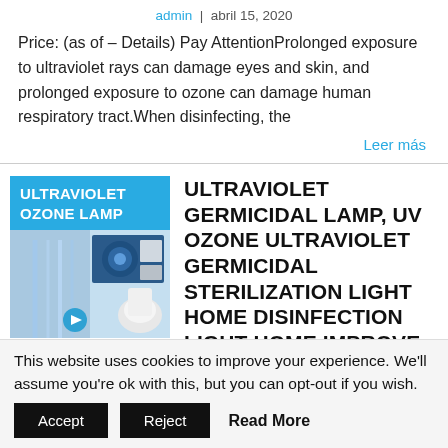admin | abril 15, 2020
Price: (as of – Details) Pay AttentionProlonged exposure to ultraviolet rays can damage eyes and skin, and prolonged exposure to ozone can damage human respiratory tract.When disinfecting, the
Leer más
[Figure (photo): Product image of ultraviolet ozone lamp with label 'ULTRAVIOLET OZONE LAMP' on cyan/blue background, showing UV lamp imagery]
ULTRAVIOLET GERMICIDAL LAMP, UV OZONE ULTRAVIOLET GERMICIDAL STERILIZATION LIGHT HOME DISINFECTION LIGHT HOME IMPROVE HOME LIGHT 38W
This website uses cookies to improve your experience. We'll assume you're ok with this, but you can opt-out if you wish.
Accept  Reject  Read More